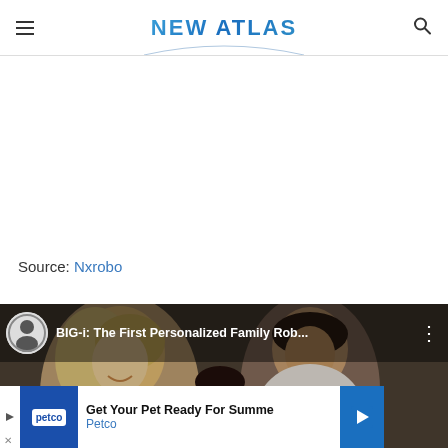NEW ATLAS
Source: Nxrobo
[Figure (screenshot): YouTube video thumbnail showing a family (man and woman smiling) with video title 'BIG-i: The First Personalized Family Rob...' and channel icon]
[Figure (screenshot): Petco advertisement banner: 'Get Your Pet Ready For Summe' with Petco logo and blue arrow button]